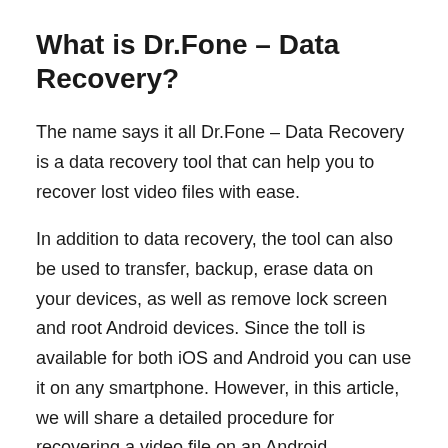What is Dr.Fone – Data Recovery?
The name says it all Dr.Fone – Data Recovery is a data recovery tool that can help you to recover lost video files with ease.
In addition to data recovery, the tool can also be used to transfer, backup, erase data on your devices, as well as remove lock screen and root Android devices. Since the toll is available for both iOS and Android you can use it on any smartphone. However, in this article, we will share a detailed procedure for recovering a video file on an Android smartphone.